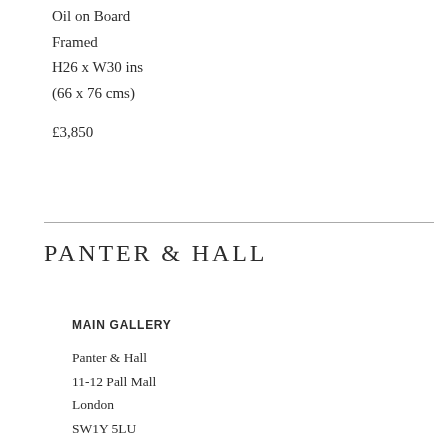Tramore, County Donegal
Oil on Board
Framed
H26 x W30 ins
(66 x 76 cms)
£3,850
PANTER & HALL
MAIN GALLERY
Panter & Hall
11-12 Pall Mall
London
SW1Y 5LU
Monday to Friday: 10AM - 6PM